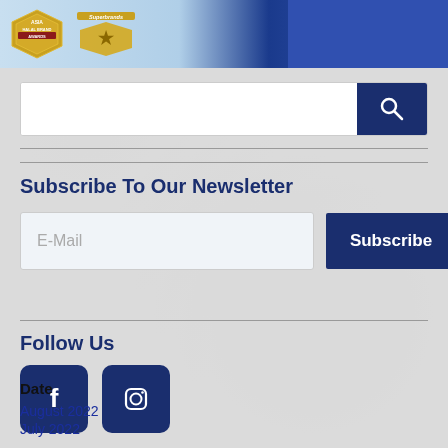[Figure (photo): Banner image showing Asia Halal Brand Awards badge and Superbrands badge on left side with blue background, and a person in blue clothing on the right side.]
[Figure (other): Search bar with text input field and dark blue search button with magnifying glass icon.]
Subscribe To Our Newsletter
[Figure (other): Email input field placeholder 'E-Mail' and dark blue Subscribe button.]
Follow Us
[Figure (other): Two dark blue social media icon buttons: Facebook (f) and Instagram (camera icon).]
Date
August 2022
July 2022